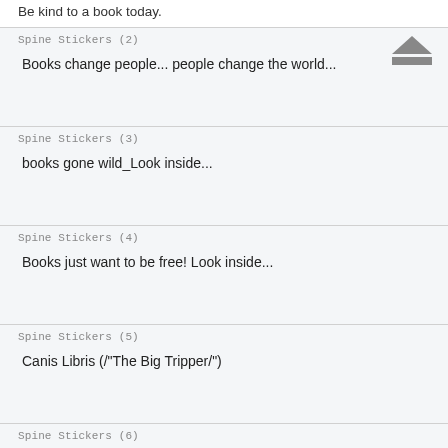Be kind to a book today.
Spine Stickers (2)
Books change people... people change the world...
Spine Stickers (3)
books gone wild_Look inside...
Spine Stickers (4)
Books just want to be free! Look inside...
Spine Stickers (5)
Canis Libris (/"The Big Tripper/")
Spine Stickers (6)